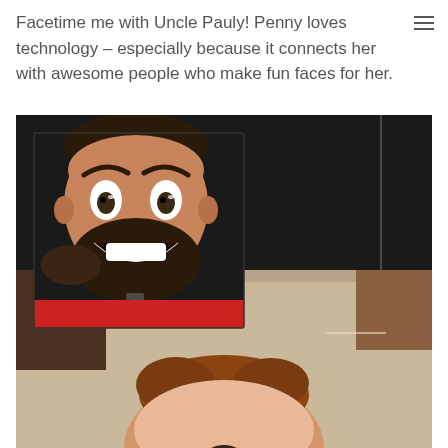Facetime me with Uncle Pauly!  Penny loves technology – especially because it connects her with awesome people who make fun faces for her.
[Figure (photo): A FaceTime screenshot showing a baby (Penny) in the foreground with reddish hair lying on what appears to a couch, and in the upper left corner an inset video call showing a man (Uncle Pauly) making a wide-eyed, excited face with a big grin and a beard. The background is dark.]